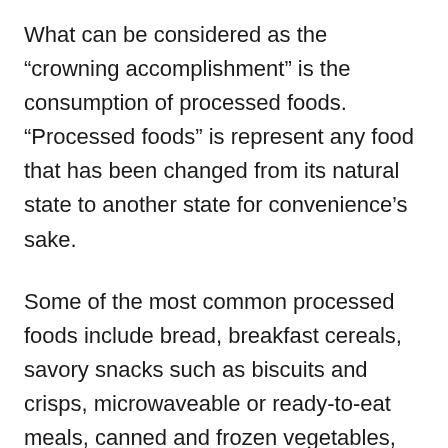What can be considered as the “crowning accomplishment” is the consumption of processed foods. “Processed foods” is represent any food that has been changed from its natural state to another state for convenience’s sake.
Some of the most common processed foods include bread, breakfast cereals, savory snacks such as biscuits and crisps, microwaveable or ready-to-eat meals, canned and frozen vegetables, process meats such as luncheon meat, spam or jerky. Also a drinks such as coffee, juice and milk; oils, drinks such as juice,